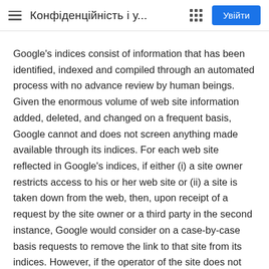Конфіденційність і у...
Google's indices consist of information that has been identified, indexed and compiled through an automated process with no advance review by human beings. Given the enormous volume of web site information added, deleted, and changed on a frequent basis, Google cannot and does not screen anything made available through its indices. For each web site reflected in Google's indices, if either (i) a site owner restricts access to his or her web site or (ii) a site is taken down from the web, then, upon receipt of a request by the site owner or a third party in the second instance, Google would consider on a case-by-case basis requests to remove the link to that site from its indices. However, if the operator of the site does not take steps to prevent it, the automatic facilities used to create the indices are likely to find that site and index it again in a relatively short amount of time.